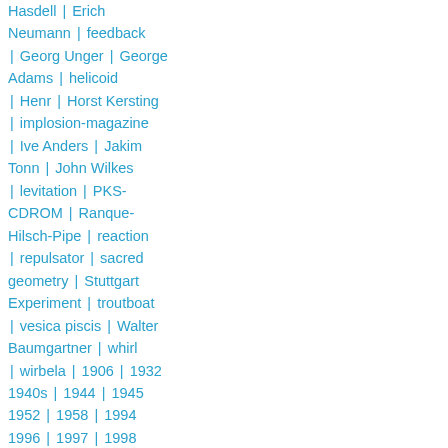Hasdell | Erich Neumann | feedback | Georg Unger | George Adams | helicoid | Henr | Horst Kersting | implosion-magazine | Ive Anders | Jakim Tonn | John Wilkes | levitation | PKS-CDROM | Ranque-Hilsch-Pipe | reaction | repulsator | sacred geometry | Stuttgart Experiment | troutboat | vesica piscis | Walter Baumgartner | whirl | wirbela | 1906 | 1932 | 1940s | 1944 | 1945 | 1952 | 1958 | 1994 | 1996 | 1997 | 1998 | 1999 | 2000 | 2001 | coandaeffect | copper | egg
Lasse Johansson of IET-Community has allowed the mirroring of these Proceedings on MERLib.org. Thank you Lasse!
» Login to post